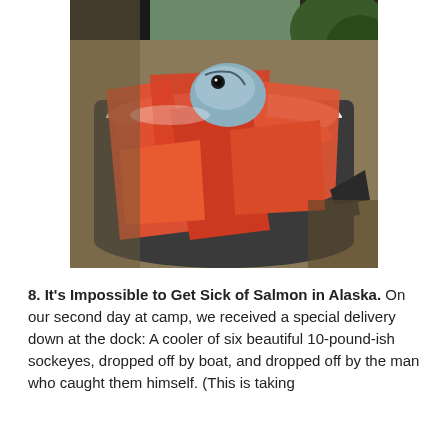[Figure (photo): A large white bowl or pot filled with raw sockeye salmon fillets and pieces, showing vivid orange-red flesh. One whole salmon head is visible. The bowl appears to be outdoors in sunlight.]
8. It's Impossible to Get Sick of Salmon in Alaska. On our second day at camp, we received a special delivery down at the dock: A cooler of six beautiful 10-pound-ish sockeyes, dropped off by boat, and dropped off by the man who caught them himself. (This is taking